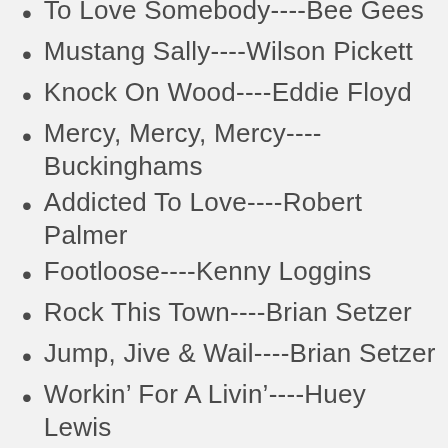To Love Somebody----Bee Gees
Mustang Sally----Wilson Pickett
Knock On Wood----Eddie Floyd
Mercy, Mercy, Mercy----Buckinghams
Addicted To Love----Robert Palmer
Footloose----Kenny Loggins
Rock This Town----Brian Setzer
Jump, Jive & Wail----Brian Setzer
Workin’ For A Livin’----Huey Lewis
You Can’t Go Home----Bon Jovi
Purple Rain----Prince
Born On The Bayou----Creedence
Susie Q----Creedence
Margaritaville----Jimmy Buffett
Everybody Have Fun Tonight----Wang